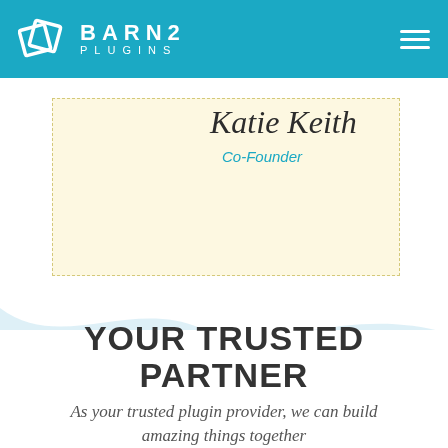BARN2 PLUGINS
[Figure (illustration): Signature card with cursive name 'Katie Keith' and teal 'Co-Founder' label on a cream dashed-border background]
[Figure (illustration): Light blue wave/cloud decorative background element separating sections]
YOUR TRUSTED PARTNER
As your trusted plugin provider, we can build amazing things together